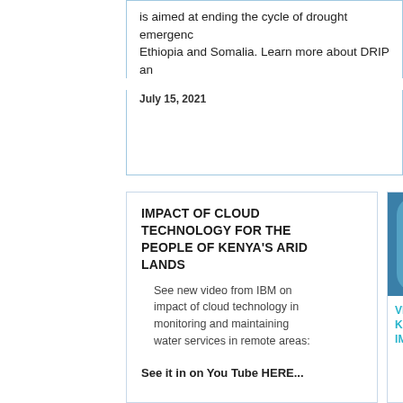is aimed at ending the cycle of drought emergency in Ethiopia and Somalia. Learn more about DRIP and
July 15, 2021
IMPACT OF CLOUD TECHNOLOGY FOR THE PEOPLE OF KENYA'S ARID LANDS
See new video from IBM on impact of cloud technology in monitoring and maintaining water services in remote areas:
See it in on You Tube HERE...
[Figure (photo): Person in white shirt standing in front of blue water filtration equipment]
VIDEO ON COMP KENYA RAPID SH IMPACT
See the video on K completed and exc targets by 2018. S
News